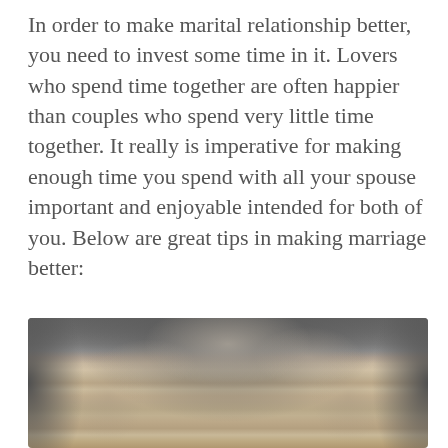In order to make marital relationship better, you need to invest some time in it. Lovers who spend time together are often happier than couples who spend very little time together. It really is imperative for making enough time you spend with all your spouse important and enjoyable intended for both of you. Below are great tips in making marriage better:
[Figure (photo): Top-down view of a person's head showing grey/blonde hair, with a dark grey blurred background. Only the top of the head is visible, cropped at the bottom of the page.]